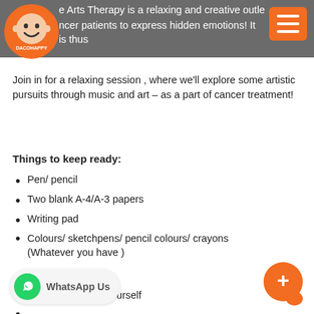Creative Arts Therapy is a relaxing and creative outlet for cancer patients to express hidden emotions! It is thus a process that may assist healing.
Join in for a relaxing session , where we'll explore some artistic pursuits through music and art – as a part of cancer treatment!
Things to keep ready:
Pen/ pencil
Two blank A-4/A-3 papers
Writing pad
Colours/ sketchpens/ pencil colours/ crayons (Whatever you have )
A bottle of water
A quiet space for yourself